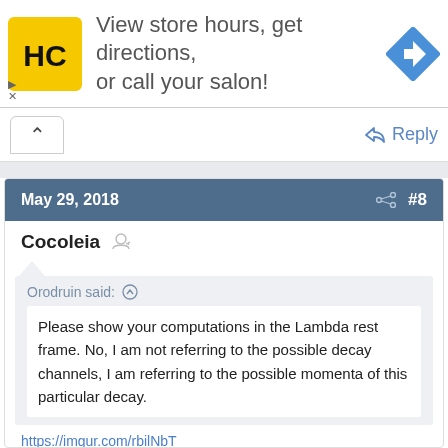[Figure (screenshot): Advertisement banner with HC logo (yellow square with black HC text), text 'View store hours, get directions, or call your salon!', and a blue diamond direction/navigation icon on the right. Small play and close controls at bottom-left.]
↑ Reply
May 29, 2018  #8
Cocoleia
Orodruin said: ↑
Please show your computations in the Lambda rest frame. No, I am not referring to the possible decay channels, I am referring to the possible momenta of this particular decay.
https://imgur.com/rbilNbT